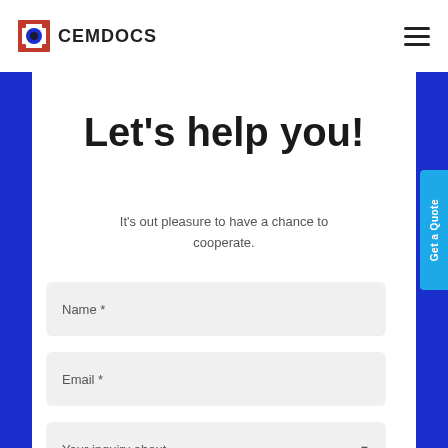[Figure (logo): CEMDOCS logo with circular icon in red and blue]
Let's help you!
It's out pleasure to have a chance to cooperate.
Name *
Email *
Your inquiry about